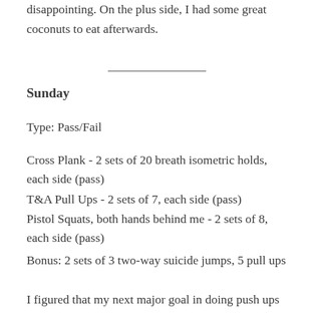disappointing. On the plus side, I had some great coconuts to eat afterwards.
Sunday
Type: Pass/Fail
Cross Plank - 2 sets of 20 breath isometric holds, each side (pass)
T&A Pull Ups - 2 sets of 7, each side (pass)
Pistol Squats, both hands behind me - 2 sets of 8, each side (pass)
Bonus: 2 sets of 3 two-way suicide jumps, 5 pull ups
I figured that my next major goal in doing push ups would be to do them on one arm